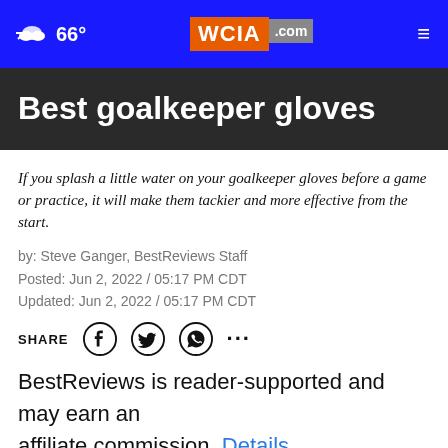WCIA.com — 66° — navigation header
Best goalkeeper gloves
If you splash a little water on your goalkeeper gloves before a game or practice, it will make them tackier and more effective from the start.
by: Steve Ganger, BestReviews Staff
Posted: Jun 2, 2022 / 05:17 PM CDT
Updated: Jun 2, 2022 / 05:17 PM CDT
SHARE [social icons: Facebook, Twitter, WhatsApp, more]
BestReviews is reader-supported and may earn an affiliate commission. Details.
What are the best goalkeeper